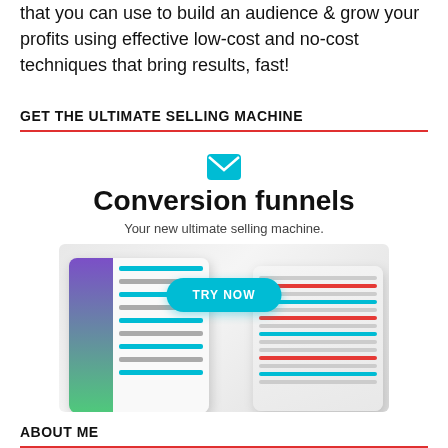that you can use to build an audience & grow your profits using effective low-cost and no-cost techniques that bring results, fast!
GET THE ULTIMATE SELLING MACHINE
[Figure (screenshot): Advertisement for Conversion funnels product showing email icon, title 'Conversion funnels', subtitle 'Your new ultimate selling machine.', a 'TRY NOW' button, and a product screenshot showing two tablet devices with dashboard interfaces.]
ABOUT ME